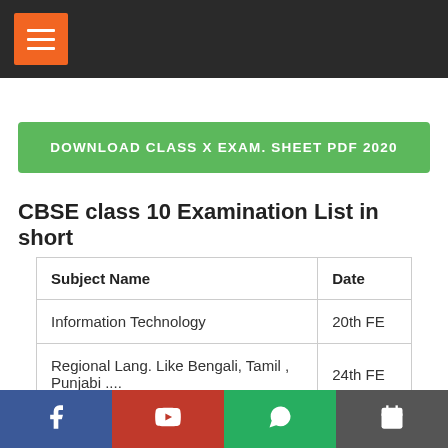Menu header bar with hamburger icon
DOWNLOAD CLASS X EXAM. SHEET PDF 2020
CBSE class 10 Examination List in short
| Subject Name | Date |
| --- | --- |
| Information Technology | 20th FE |
| Regional Lang. Like Bengali, Tamil , Punjabi .... | 24th FE |
| English | 26th FE |
| Hindi | 29th FE |
Facebook | YouTube | WhatsApp | Calendar